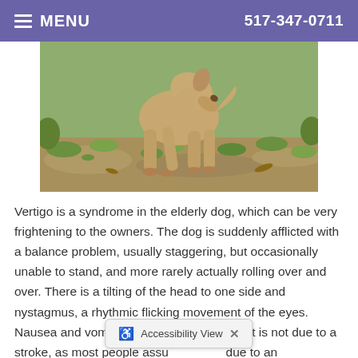MENU  517-347-0711
[Figure (photo): A tan/fawn dog standing outdoors on dirt ground with green grass/vegetation in the background, head lowered toward the ground.]
Vertigo is a syndrome in the elderly dog, which can be very frightening to the owners. The dog is suddenly afflicted with a balance problem, usually staggering, but occasionally unable to stand, and more rarely actually rolling over and over. There is a tilting of the head to one side and nystagmus, a rhythmic flicking movement of the eyes. Nausea and vomiting may also in present. It is not due to a stroke, as most people assu due to an